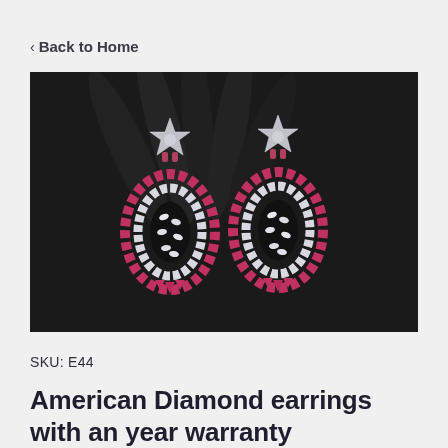< Back to Home
[Figure (photo): Two ornate American Diamond drop earrings with red/pink and white stones arranged in a teardrop shape, displayed on a black hand-shaped jewelry stand against a dark background.]
SKU: E44
American Diamond earrings with an year warranty